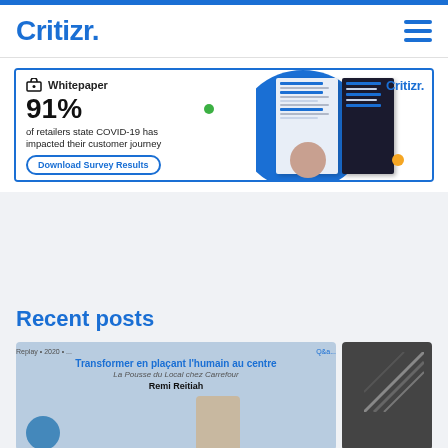Critizr.
[Figure (screenshot): Whitepaper advertisement banner: 91% of retailers state COVID-19 has impacted their customer journey. Download Survey Results button. Critizr logo top right. Blue circle with document illustrations.]
Recent posts
[Figure (screenshot): Recent posts blog card: Transformer en plaçant l'humain au centre - La Pousse du Local chez Carrefour. Photo of Remi Reitiah.]
[Figure (photo): Second recent post card showing a dark industrial/structural photo.]